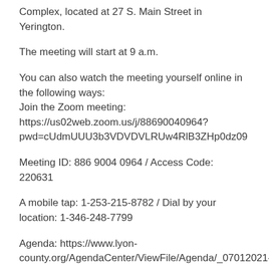Complex, located at 27 S. Main Street in Yerington.
The meeting will start at 9 a.m.
You can also watch the meeting yourself online in the following ways:
Join the Zoom meeting:
https://us02web.zoom.us/j/88690040964?pwd=cUdmUUU3b3VDVDVLRUw4RlB3ZHp0dz09
Meeting ID: 886 9004 0964 / Access Code: 220631
A mobile tap: 1-253-215-8782 / Dial by your location: 1-346-248-7799
Agenda: https://www.lyon-county.org/AgendaCenter/ViewFile/Agenda/_07012021-1003